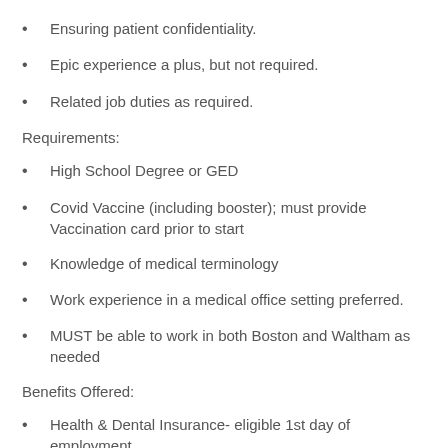Ensuring patient confidentiality.
Epic experience a plus, but not required.
Related job duties as required.
Requirements:
High School Degree or GED
Covid Vaccine (including booster); must provide Vaccination card prior to start
Knowledge of medical terminology
Work experience in a medical office setting preferred.
MUST be able to work in both Boston and Waltham as needed
Benefits Offered:
Health & Dental Insurance- eligible 1st day of employment
Paid time off and paid holidays
Health & Dependent Reimbursement Accounts
401(k) Plan
Company paid Life and LTD Insurance